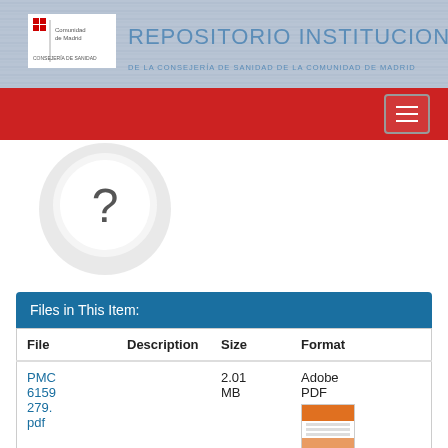[Figure (screenshot): Repositorio Institucional de la Consejería de Sanidad de la Comunidad de Madrid header banner with logo and books background]
[Figure (screenshot): Red navigation bar with hamburger menu icon]
[Figure (illustration): Large circular avatar placeholder with question mark]
| File | Description | Size | Format |
| --- | --- | --- | --- |
| PMC6159279.pdf |  | 2.01 MB | Adobe PDF |